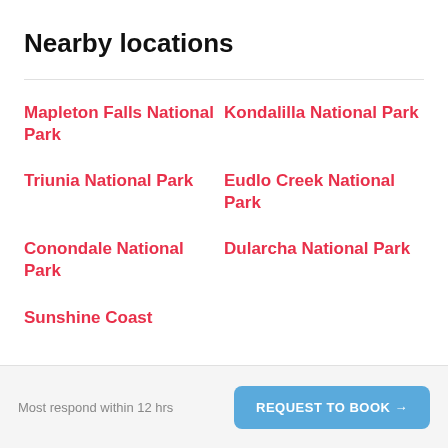Nearby locations
Mapleton Falls National Park
Kondalilla National Park
Triunia National Park
Eudlo Creek National Park
Conondale National Park
Dularcha National Park
Sunshine Coast
Most respond within 12 hrs
REQUEST TO BOOK →